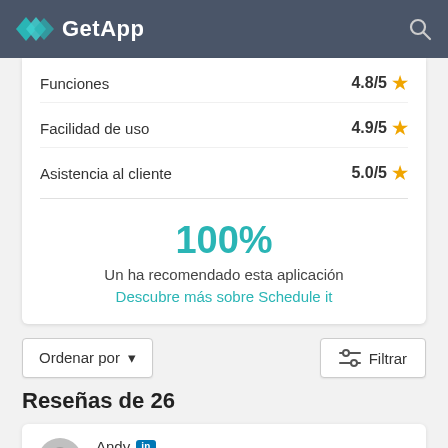GetApp
Funciones 4.8/5
Facilidad de uso 4.9/5
Asistencia al cliente 5.0/5
100%
Un ha recomendado esta aplicación
Descubre más sobre Schedule it
Ordenar por
Filtrar
Reseñas de 26
Andy
Calificación general